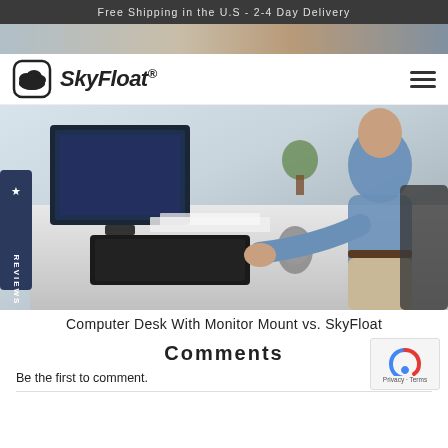Free Shipping in the U.S - 2-4 Day Delivery
[Figure (photo): Hero banner image showing an office/workspace scene in muted tones]
[Figure (logo): SkyFloat logo with cloud icon and brand name SkyFloat®]
[Figure (photo): Man in blue shirt leaning over a standing desk with a monitor, keyboard and mouse — office environment]
Computer Desk With Monitor Mount vs. SkyFloat
Comments
Be the first to comment.